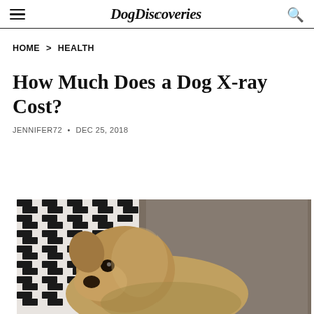DogDiscoveries
HOME > HEALTH
How Much Does a Dog X-ray Cost?
JENNIFER72 • DEC 25, 2018
[Figure (photo): A small scruffy terrier-type dog lying on a black and white houndstooth patterned cushion, with a grey fluffy blanket or another dog visible in the background.]